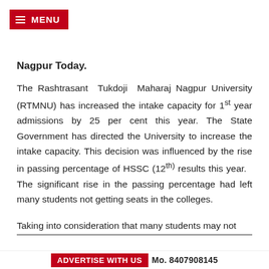MENU
Nagpur Today.
The Rashtrasant Tukdoji Maharaj Nagpur University (RTMNU) has increased the intake capacity for 1st year admissions by 25 per cent this year. The State Government has directed the University to increase the intake capacity. This decision was influenced by the rise in passing percentage of HSSC (12th) results this year. The significant rise in the passing percentage had left many students not getting seats in the colleges.
Taking into consideration that many students may not
ADVERTISE WITH US   Mo. 8407908145